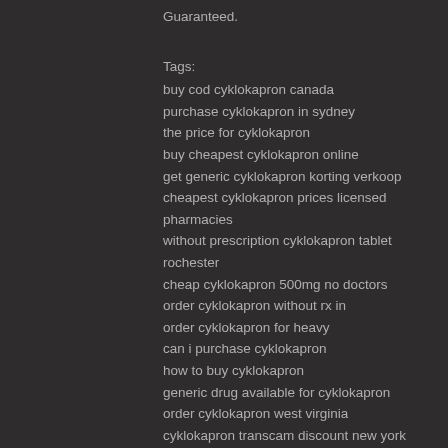Guaranteed.
Tags:
buy cod cyklokapron canada
purchase cyklokapron in sydney
the price for cyklokapron
buy cheapest cyklokapron online
get generic cyklokapron korting verkoop
cheapest cyklokapron prices licensed pharmacies
without prescription cyklokapron tablet rochester
cheap cyklokapron 500mg no doctors
order cyklokapron without rx in
order cyklokapron for heavy
can i purchase cyklokapron
how to buy cyklokapron
generic drug available for cyklokapron
order cyklokapron west virginia
cyklokapron transcam discount new york
where to order next cyklokapron
pharmacies sale cyklokapron without prescription http:
cheap cyklokapron otc